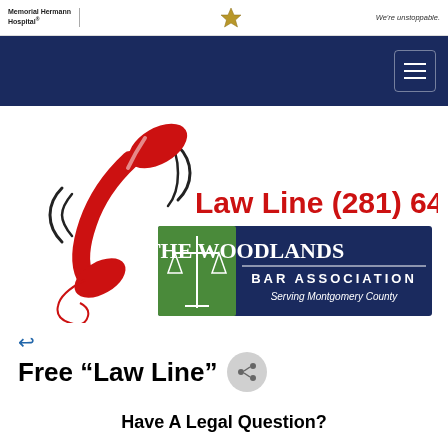Hospital | [badge icon] We're unstoppable.
[Figure (screenshot): Navy navigation bar with hamburger menu icon on right side]
[Figure (logo): Law Line (281) 645-6344 with red telephone handset illustration and The Woodlands Bar Association logo — Serving Montgomery County]
← (back arrow)
Free "Law Line"
Have A Legal Question?